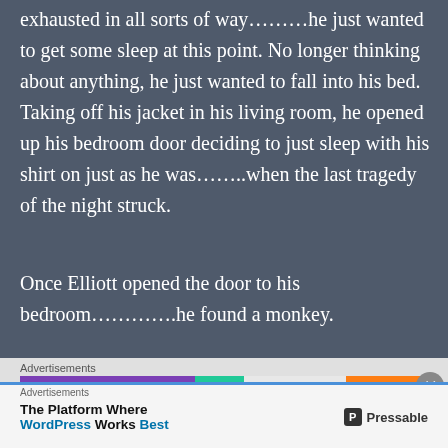exhausted in all sorts of way………he just wanted to get some sleep at this point. No longer thinking about anything, he just wanted to fall into his bed. Taking off his jacket in his living room, he opened up his bedroom door deciding to just sleep with his shirt on just as he was……..when the last tragedy of the night struck.
Once Elliott opened the door to his bedroom………….he found a monkey.
[Figure (other): Advertisements section with colorful banner ad (purple, teal, orange) and partial text 'How to start calling']
[Figure (other): Overlay advertisement for Pressable: 'The Platform Where WordPress Works Best' with Pressable logo]